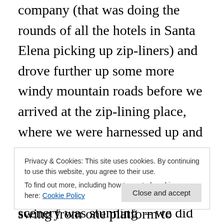company (that was doing the rounds of all the hotels in Santa Elena picking up zip-liners) and drove further up some more windy mountain roads before we arrived at the zip-lining place, where we were harnessed up and sent on our merry way to zip between platforms in the forest canopy. It was great fun and the scenery was stunning – we did buy the DVD of us doing it (they must have had cameras around the forest at various points) but we're sad to say you probably won't get to see it as we both decided that we look too fat in it for it to be shared on the internet.
Privacy & Cookies: This site uses cookies. By continuing to use this website, you agree to their use.
To find out more, including how to control cookies, see here: Cookie Policy
swing from one platform to another, but when we got